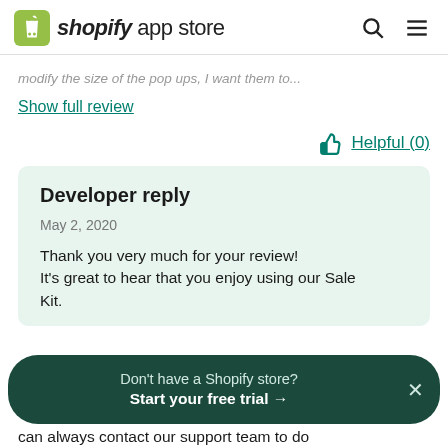shopify app store
modify the size of the pop ups, I want them to...
Show full review
Helpful (0)
Developer reply
May 2, 2020
Thank you very much for your review! It's great to hear that you enjoy using our Sale Kit.
Don't have a Shopify store? Start your free trial →
can always contact our support team to do